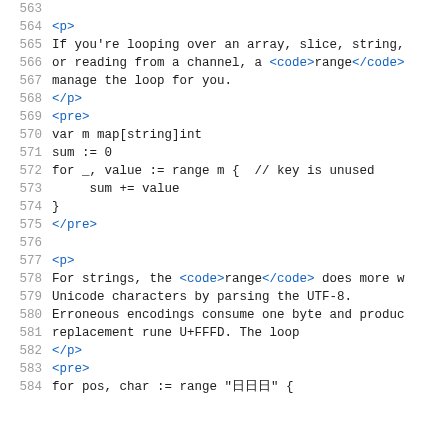563 (blank line)
564   <p>
565   If you're looping over an array, slice, string,
566   or reading from a channel, a <code>range</code>
567   manage the loop for you.
568   </p>
569   <pre>
570   var m map[string]int
571   sum := 0
572   for _, value := range m {  // key is unused
573       sum += value
574   }
575   </pre>
576 (blank line)
577   <p>
578   For strings, the <code>range</code> does more w
579   Unicode characters by parsing the UTF-8.
580   Erroneous encodings consume one byte and produc
581   replacement rune U+FFFD. The loop
582   </p>
583   <pre>
584   for pos, char := range "日日日" {